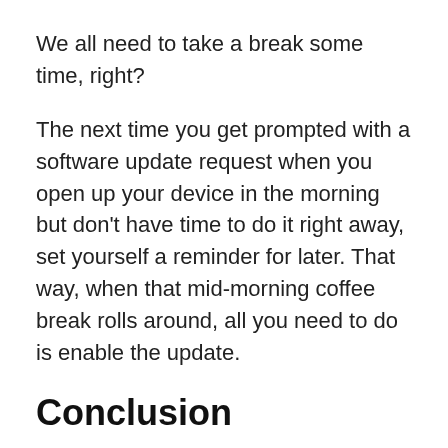We all need to take a break some time, right?
The next time you get prompted with a software update request when you open up your device in the morning but don't have time to do it right away, set yourself a reminder for later. That way, when that mid-morning coffee break rolls around, all you need to do is enable the update.
Conclusion
Software updates are about a lot more than just getting the latest features for your device or computer. They have important